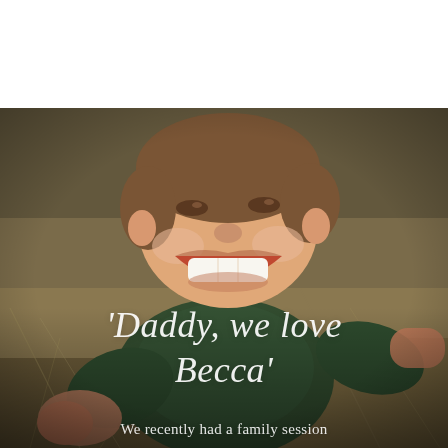[Figure (photo): A laughing young boy with short brown hair wearing a dark green knit sweater, photographed from above at an angle, reaching his arm toward the camera. Background is dried grass/straw. The image occupies the lower three-quarters of the page, with a white band at the top.]
'Daddy, we love Becca'
We recently had a family session